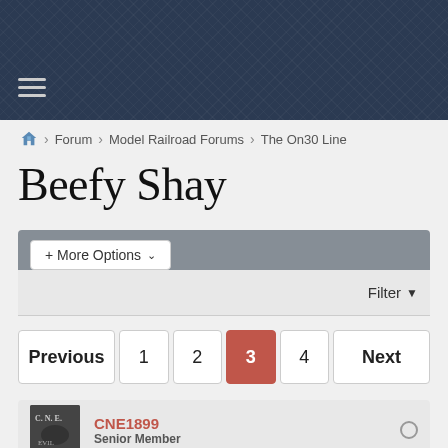Forum > Model Railroad Forums > The On30 Line
Beefy Shay
+ More Options
Filter
Previous  1  2  3  4  Next
CNE1899 Senior Member